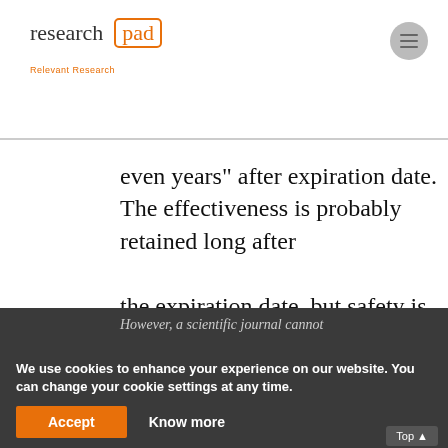research pad - Relevant Research
even years" after expiration date. The effectiveness is probably retained long after the expiration date, but safety is not proven.
However, a scientific journal cannot
We use cookies to enhance your experience on our website. You can change your cookie settings at any time.
- The period a drug can last date victim to be determined, also depends on the time